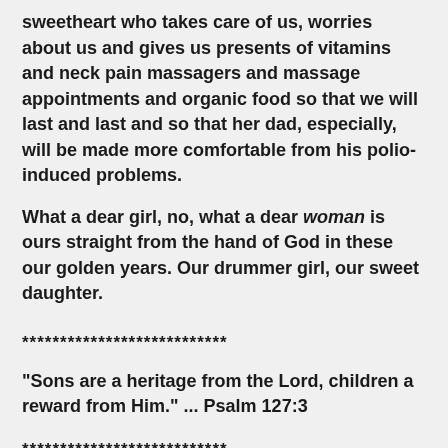sweetheart who takes care of us, worries about us and gives us presents of vitamins and neck pain massagers and massage appointments and organic food so that we will last and last and so that her dad, especially, will be made more comfortable from his polio-induced problems.
What a dear girl, no, what a dear woman is ours straight from the hand of God in these our golden years. Our drummer girl, our sweet daughter.
***************************
"Sons are a heritage from the Lord, children a reward from Him." ... Psalm 127:3
***************************
Here's my favorite post about my daughter.